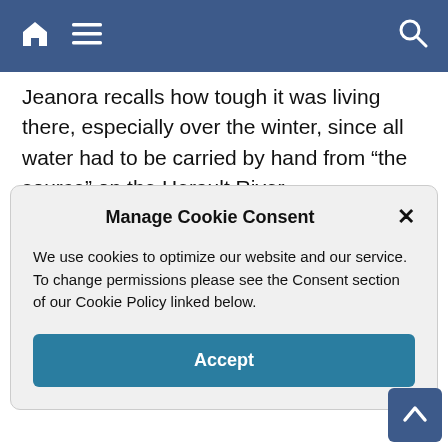[navigation bar with home, menu, and search icons]
Jeanora recalls how tough it was living there, especially over the winter, since all water had to be carried by hand from “the source” on the Herault River.
Manage Cookie Consent
We use cookies to optimize our website and our service. To change permissions please see the Consent section of our Cookie Policy linked below.
Accept
Notes
[1] John Langley was an accomplished violinist and part-time artist, born in the U.K. After moving to Canada, promising career as a concert violinist ended when he